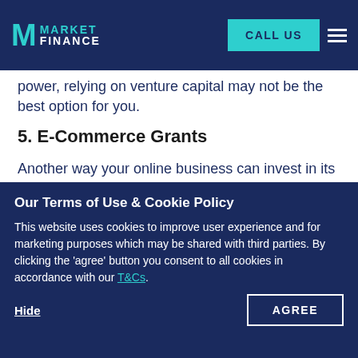MARKETFINANCE | CALL US
power, relying on venture capital may not be the best option for you.
5. E-Commerce Grants
Another way your online business can invest in its future is by accessing e-commerce grants. Grants are a type of capital that businesses aren't expected to pay back. Since they are free of stipulations and won't burden your business with hefty payments down the line, making them preferable to most other funding options. They also rarely come with strings attached, allowing businesses to retain full control over their...
Our Terms of Use & Cookie Policy
This website uses cookies to improve user experience and for marketing purposes which may be shared with third parties. By clicking the 'agree' button you consent to all cookies in accordance with our T&Cs.
As the name suggests, e-commerce grants are simply grants available to e-commerce businesses. However, they can be more challenging to access than other financing options due to their...